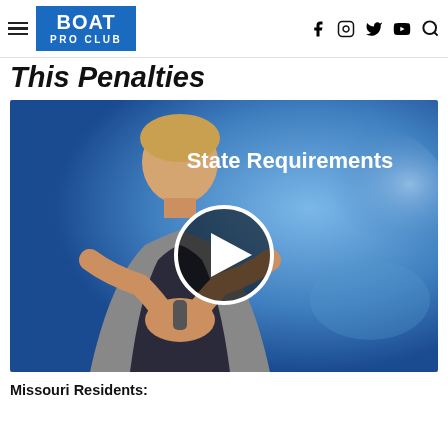BOAT PRO CLUB — navigation header with social icons
This Penalties
[Figure (screenshot): Video thumbnail of a man speaking in front of a blue background with text 'State Requirements' displayed. A circular play button overlay is visible in the center of the video.]
Missouri Residents: